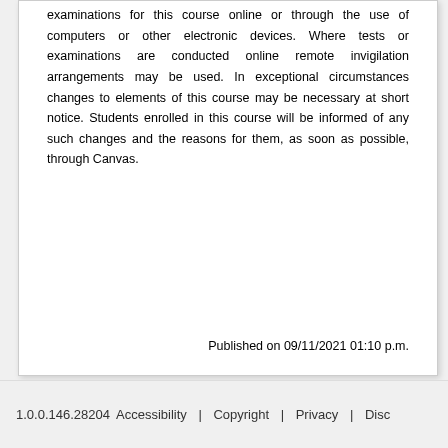examinations for this course online or through the use of computers or other electronic devices. Where tests or examinations are conducted online remote invigilation arrangements may be used. In exceptional circumstances changes to elements of this course may be necessary at short notice. Students enrolled in this course will be informed of any such changes and the reasons for them, as soon as possible, through Canvas.
Published on 09/11/2021 01:10 p.m.
1.0.0.146.28204  Accessibility  |  Copyright  |  Privacy  |  Disc...